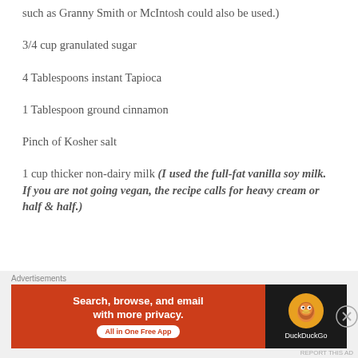such as Granny Smith or McIntosh could also be used.)
3/4 cup granulated sugar
4 Tablespoons instant Tapioca
1 Tablespoon ground cinnamon
Pinch of Kosher salt
1 cup thicker non-dairy milk (I used the full-fat vanilla soy milk. If you are not going vegan, the recipe calls for heavy cream or half & half.)
[Figure (infographic): DuckDuckGo advertisement banner: orange left panel with text 'Search, browse, and email with more privacy. All in One Free App' and dark right panel with DuckDuckGo logo duck icon and brand name.]